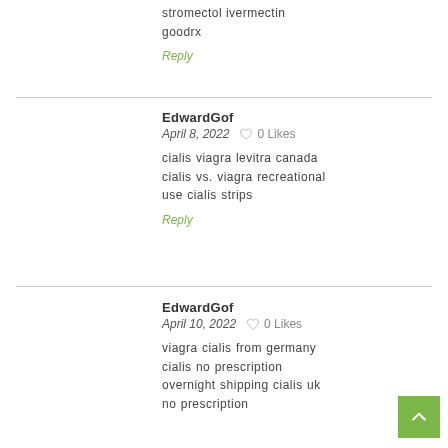stromectol ivermectin goodrx
Reply
EdwardGof
April 8, 2022  0 Likes
cialis viagra levitra canada cialis vs. viagra recreational use cialis strips
Reply
EdwardGof
April 10, 2022  0 Likes
viagra cialis from germany cialis no prescription overnight shipping cialis uk no prescription